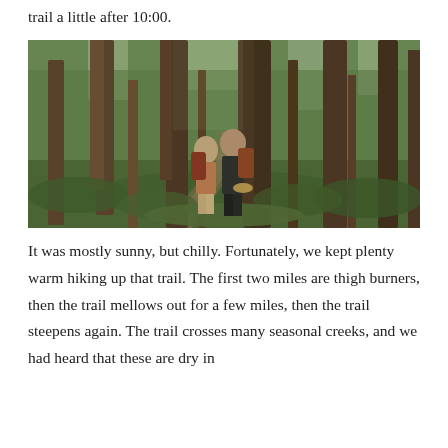trail a little after 10:00.
[Figure (photo): Two hikers with backpacks standing on a forest trail surrounded by tall trees and green undergrowth, smiling at the camera.]
It was mostly sunny, but chilly. Fortunately, we kept plenty warm hiking up that trail. The first two miles are thigh burners, then the trail mellows out for a few miles, then the trail steepens again. The trail crosses many seasonal creeks, and we had heard that these are dry in